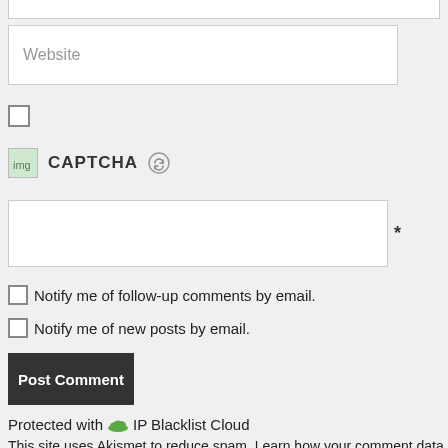[Figure (screenshot): Website input field (partially visible at top)]
[Figure (screenshot): Website text input box with placeholder text 'Website']
[Figure (screenshot): Single checkbox (unchecked)]
[Figure (screenshot): CAPTCHA label with image icon and refresh button]
[Figure (screenshot): CAPTCHA answer input box with asterisk required marker]
Notify me of follow-up comments by email.
Notify me of new posts by email.
Post Comment
Protected with IP Blacklist Cloud
This site uses Akismet to reduce spam. Learn how your comment data